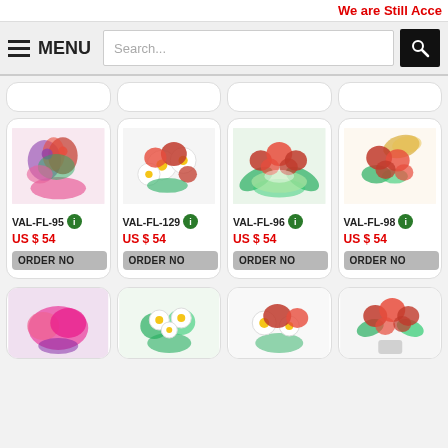We are Still Acce
[Figure (screenshot): Navigation bar with hamburger menu icon, MENU label, search box with placeholder 'Search...', and black search button with magnifying glass icon]
[Figure (screenshot): Product card: VAL-FL-95, colorful mixed flower bouquet with pink wrapping, US $54, ORDER NO button]
[Figure (screenshot): Product card: VAL-FL-129, red roses with white daisies bouquet, US $54, ORDER NO button]
[Figure (screenshot): Product card: VAL-FL-96, red roses in green tropical leaf wrap, US $54, ORDER NO button]
[Figure (screenshot): Product card: VAL-FL-98, red roses bouquet with gold packaging, US $54, ORDER NO button]
[Figure (screenshot): Bottom partial product cards showing flowers: pink carnation arrangement, white daisies bouquet, red roses with white daisies, red roses in vase]